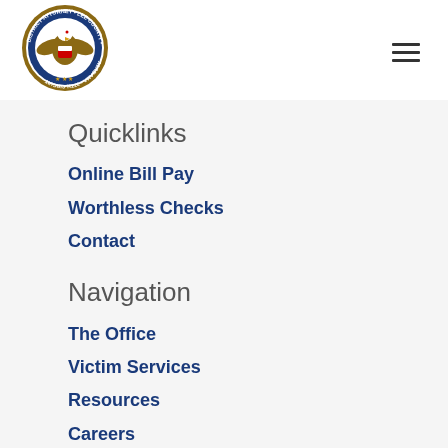[Figure (logo): District Attorney Lee County Alabama 37th Circuit seal/badge logo]
Quicklinks
Online Bill Pay
Worthless Checks
Contact
Navigation
The Office
Victim Services
Resources
Careers
Agencies